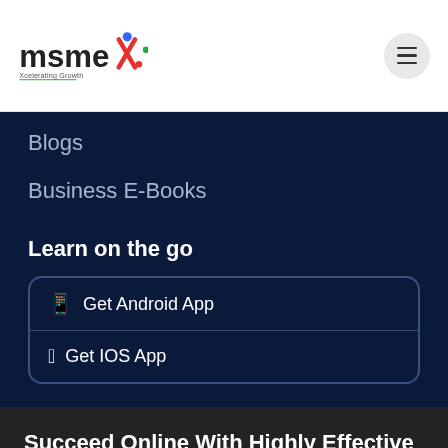[Figure (logo): MSMEX logo with colorful dots and X, tagline: Xcelerating Growth]
Blogs
Business E-Books
Learn on the go
Get Android App
Get IOS App
Succeed Online With Highly Effective Business Tips and Tricks
Do you want to scale your business even further than it is today? You are at the right place.